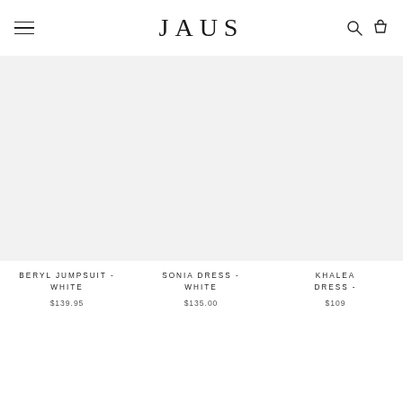JAUS
BERYL JUMPSUIT - WHITE
$139.95
SONIA DRESS - WHITE
$135.00
KHALEA DRESS -
$109